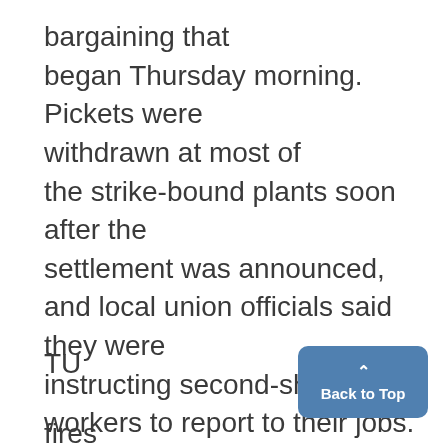bargaining that began Thursday morning. Pickets were withdrawn at most of the strike-bound plants soon after the settlement was announced, and local union officials said they were instructing second-shift workers to report to their jobs. The contract now goes to the rank-and-file, with ratifica-
TU
fires